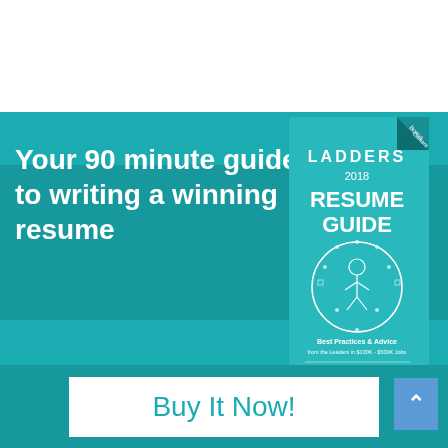[Figure (illustration): Book cover for 'Ladders 2018 Resume Guide' by Marc Cenedella — teal cover with circular icon and text 'Best Practices & Advice from the Leaders in $100K - $500K Jobs']
Your 90 minute guide to writing a winning resume
Buy It Now!